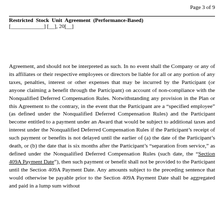Page 3 of 9
Restricted Stock Unit Agreement (Performance-Based)
[____________] [__], 20[__]
Agreement, and should not be interpreted as such. In no event shall the Company or any of its affiliates or their respective employees or directors be liable for all or any portion of any taxes, penalties, interest or other expenses that may be incurred by the Participant (or anyone claiming a benefit through the Participant) on account of non-compliance with the Nonqualified Deferred Compensation Rules. Notwithstanding any provision in the Plan or this Agreement to the contrary, in the event that the Participant are a “specified employee” (as defined under the Nonqualified Deferred Compensation Rules) and the Participant become entitled to a payment under an Award that would be subject to additional taxes and interest under the Nonqualified Deferred Compensation Rules if the Participant’s receipt of such payment or benefits is not delayed until the earlier of (a) the date of the Participant’s death, or (b) the date that is six months after the Participant’s “separation from service,” as defined under the Nonqualified Deferred Compensation Rules (such date, the “Section 409A Payment Date”), then such payment or benefit shall not be provided to the Participant until the Section 409A Payment Date. Any amounts subject to the preceding sentence that would otherwise be payable prior to the Section 409A Payment Date shall be aggregated and paid in a lump sum without